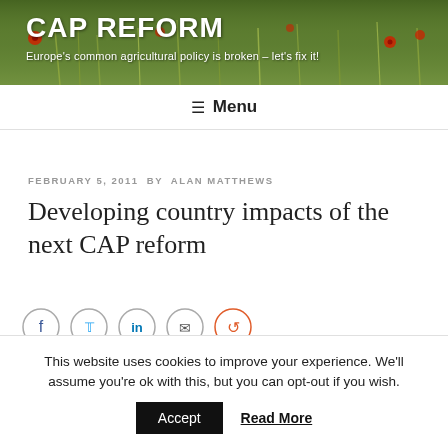[Figure (photo): Banner image of a wildflower field with red poppies and grain stalks, serving as the website header background]
CAP REFORM
Europe's common agricultural policy is broken – let's fix it!
≡ Menu
FEBRUARY 5, 2011 BY ALAN MATTHEWS
Developing country impacts of the next CAP reform
This website uses cookies to improve your experience. We'll assume you're ok with this, but you can opt-out if you wish.
Accept Read More